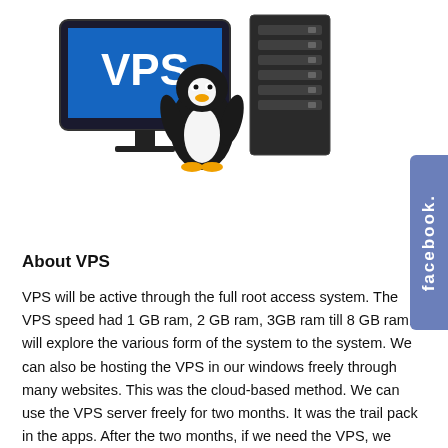[Figure (illustration): Illustration showing a computer monitor displaying 'VPS' text, a Linux Tux penguin mascot, and a server tower, representing Virtual Private Server hosting]
About VPS
VPS will be active through the full root access system. The VPS speed had 1 GB ram, 2 GB ram, 3GB ram till 8 GB ram. It will explore the various form of the system to the system. We can also be hosting the VPS in our windows freely through many websites. This was the cloud-based method. We can use the VPS server freely for two months. It was the trail pack in the apps. After the two months, if we need the VPS, we need to pay monthly once or yearly once. The payment was based on the server. One of the best benefits there is no limit in the free trial. VPS is Comparatively significantly more comfortable to use it.